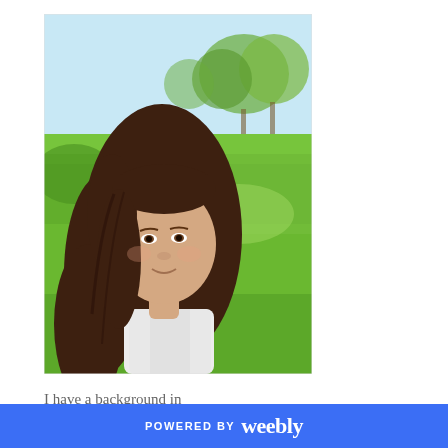[Figure (photo): A woman with long brown hair wearing a white shirt, photographed outdoors in a park setting with green grass and trees in the background on a bright day.]
I have a background in Energy and Mind Body
POWERED BY weebly